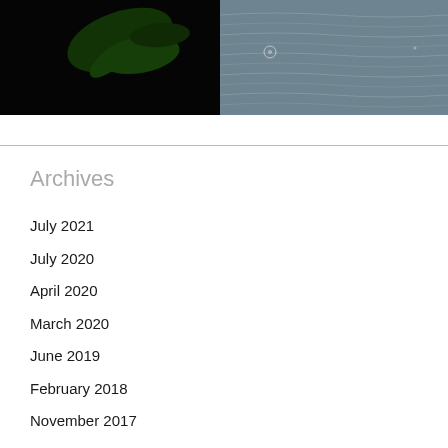[Figure (photo): Dark image with green plant or leaf against black background]
[Figure (photo): Grayish-blue water surface texture with subtle ripples and a small circular object]
Archives
July 2021
July 2020
April 2020
March 2020
June 2019
February 2018
November 2017
September 2017
July 2017
May 2017
March 2017